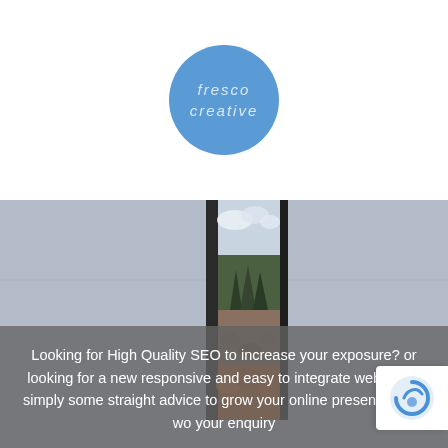[Figure (logo): Fresco Creative logo — blue circle with italic text 'fresco creative' in light blue]
[Figure (photo): A canvas print leaning in a grey studio environment, showing a landscape with mountains, trees, rocks, and orange foliage]
Looking for High Quality SEO to increase your exposure? or looking for a new responsive and easy to integrate website or simply some straight advice to grow your online presence? We wo your enquiry